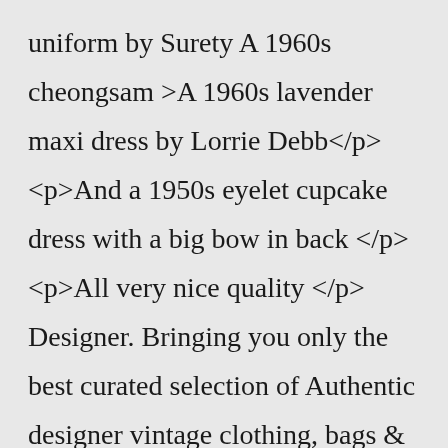uniform by Surety A 1960s cheongsam >A 1960s lavender maxi dress by Lorrie Debb</p><p>And a 1950s eyelet cupcake dress with a big bow in back </p><p>All very nice quality </p> Designer. Bringing you only the best curated selection of Authentic designer vintage clothing, bags & accessories. Browse a variety of vintage shoes, dresses and designer jewelry by high-end brands you know and love! We have a